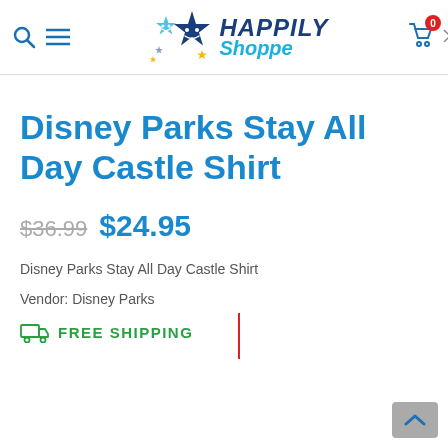[Figure (logo): Happily Shoppe logo with two smiling stars (light blue and dark blue) and the text 'HAPPILY Shoppe' in navy and cyan italic font]
Disney Parks Stay All Day Castle Shirt
$36.99  $24.95
Disney Parks Stay All Day Castle Shirt
Vendor: Disney Parks
FREE SHIPPING